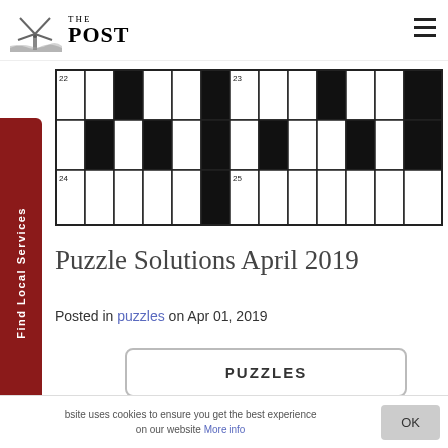THE POST
[Figure (other): Partial crossword puzzle grid showing rows with numbered squares 22, 23, 24, 25 and black filled squares in a checkerboard-like pattern]
Puzzle Solutions April 2019
Posted in puzzles on Apr 01, 2019
PUZZLES
Find Local Services
This website uses cookies to ensure you get the best experience on our website More info OK